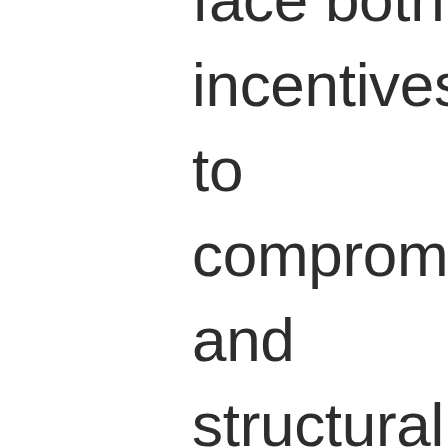face both incentives to compromise and structural pressure: administering a capitalist state premised